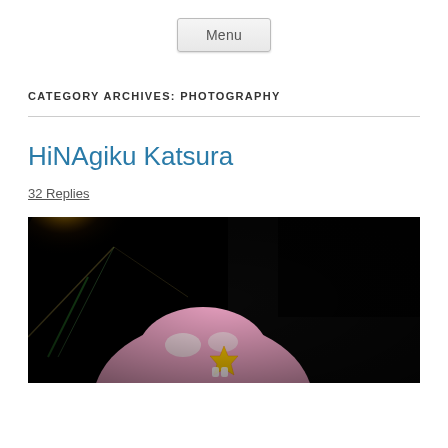Menu
CATEGORY ARCHIVES: PHOTOGRAPHY
HiNAgiku Katsura
32 Replies
[Figure (photo): Dark photograph showing a pink anime figure with a yellow star accessory, with a bright light flare in the upper left corner against a black background]